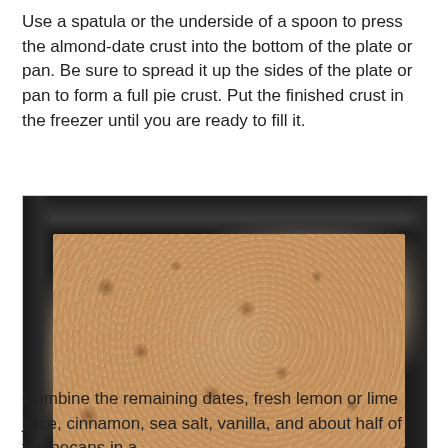Use a spatula or the underside of a spoon to press the almond-date crust into the bottom of the plate or pan. Be sure to spread it up the sides of the plate or pan to form a full pie crust. Put the finished crust in the freezer until you are ready to fill it.
[Figure (photo): Photo of an almond-date pie crust pressed into a square dark baking pan, viewed from a slight angle. The crust is crumbly, light tan/beige with speckles of darker brown bits, filling the bottom and sides of the pan.]
Combine the remaining dates, fresh lemon or lime juice, cinnamon, sea salt, vanilla, and about half of the pecans in a